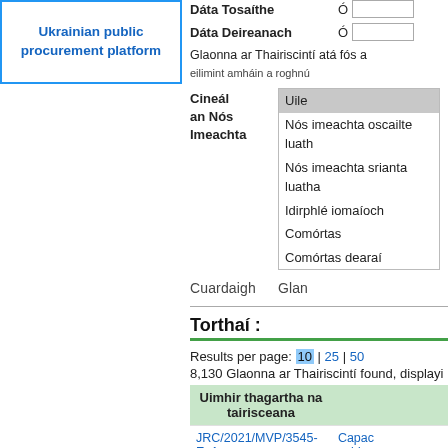[Figure (logo): Ukrainian public procurement platform logo, blue bordered box]
Dáta Tosaíthe Ó [input]
Dáta Deireanach Ó [input]
Glaonna ar Thairiscintí atá fós a eilimint amháin a roghnú
Cineál an Nós Imeachta
Uile
Nós imeachta oscailte luath
Nós imeachta srianta luatha
Idirphlé iomaíoch
Comórtas
Comórtas dearaí
Cuardaigh    Glan
Torthaí :
Results per page: 10 | 25 | 50
8,130 Glaonna ar Thairiscintí found, displayi
| Uimhir thagartha na tairisceana |  |
| --- | --- |
| JRC/2021/MVP/3545-ExA | Capac eviden |